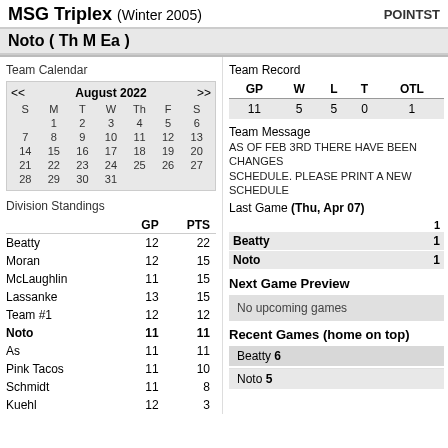MSG Triplex (Winter 2005) POINTST
Noto ( Th M Ea )
Team Calendar
| S | M | T | W | Th | F | S |
| --- | --- | --- | --- | --- | --- | --- |
|  | 1 | 2 | 3 | 4 | 5 | 6 |
| 7 | 8 | 9 | 10 | 11 | 12 | 13 |
| 14 | 15 | 16 | 17 | 18 | 19 | 20 |
| 21 | 22 | 23 | 24 | 25 | 26 | 27 |
| 28 | 29 | 30 | 31 |  |  |  |
Division Standings
|  | GP | PTS |
| --- | --- | --- |
| Beatty | 12 | 22 |
| Moran | 12 | 15 |
| McLaughlin | 11 | 15 |
| Lassanke | 13 | 15 |
| Team #1 | 12 | 12 |
| Noto | 11 | 11 |
| As | 11 | 11 |
| Pink Tacos | 11 | 10 |
| Schmidt | 11 | 8 |
| Kuehl | 12 | 3 |
Team Record
| GP | W | L | T | OTL |
| --- | --- | --- | --- | --- |
| 11 | 5 | 5 | 0 | 1 |
Team Message
AS OF FEB 3RD THERE HAVE BEEN CHANGES SCHEDULE. PLEASE PRINT A NEW SCHEDULE
Last Game (Thu, Apr 07)
|  | 1 |
| --- | --- |
| Beatty | 1 |
| Noto | 1 |
Next Game Preview
No upcoming games
Recent Games (home on top)
Beatty 6
Noto 5